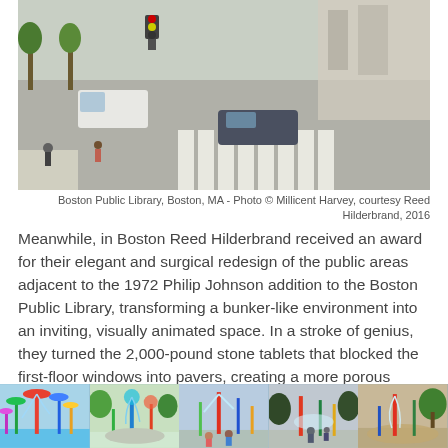[Figure (photo): Aerial/elevated view of a busy urban street intersection near Boston Public Library, showing pedestrians crossing a crosswalk, cars, traffic lights, and sidewalks.]
Boston Public Library, Boston, MA - Photo © Millicent Harvey, courtesy Reed Hilderbrand, 2016
Meanwhile, in Boston Reed Hilderbrand received an award for their elegant and surgical redesign of the public areas adjacent to the 1972 Philip Johnson addition to the Boston Public Library, transforming a bunker-like environment into an inviting, visually animated space. In a stroke of genius, they turned the 2,000-pound stone tablets that blocked the first-floor windows into pavers, creating a more porous visual relationship between interior and exterior space. This was complemented by a richly articulated and pedestrian-friendly streetscape.
[Figure (photo): Five side-by-side photos of outdoor splash pad / water play areas with colorful water structures and children playing.]